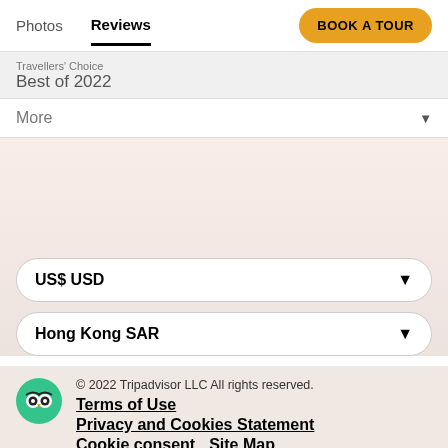Photos   Reviews   BOOK A TOUR
Best of 2022
More
US$ USD
Hong Kong SAR
© 2022 Tripadvisor LLC All rights reserved.
Terms of Use
Privacy and Cookies Statement
Cookie consent   Site Map
How the site works   Contact us
This is the version of our website addressed to speakers of English in Hong Kong. If you are a resident of another country or region, please select the appropriate version of Tripadvisor for your country or region in the drop-down menu. more.